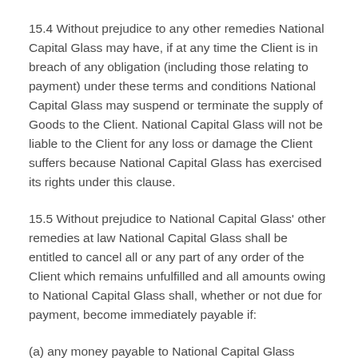15.4 Without prejudice to any other remedies National Capital Glass may have, if at any time the Client is in breach of any obligation (including those relating to payment) under these terms and conditions National Capital Glass may suspend or terminate the supply of Goods to the Client. National Capital Glass will not be liable to the Client for any loss or damage the Client suffers because National Capital Glass has exercised its rights under this clause.
15.5 Without prejudice to National Capital Glass' other remedies at law National Capital Glass shall be entitled to cancel all or any part of any order of the Client which remains unfulfilled and all amounts owing to National Capital Glass shall, whether or not due for payment, become immediately payable if:
(a) any money payable to National Capital Glass becomes